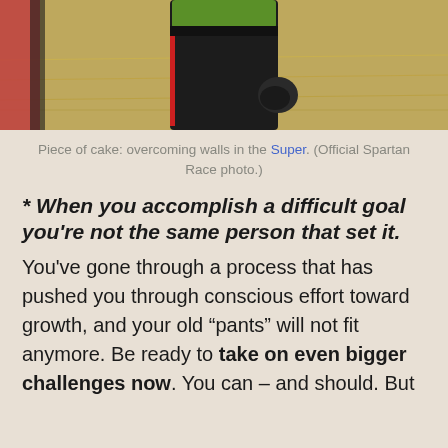[Figure (photo): Bottom portion of a person wearing black pants and a green top with black gloves, standing in a field of dry golden grass. A red object is partially visible on the left side.]
Piece of cake: overcoming walls in the Super. (Official Spartan Race photo.)
* When you accomplish a difficult goal you're not the same person that set it. You've gone through a process that has pushed you through conscious effort toward growth, and your old “pants” will not fit anymore. Be ready to take on even bigger challenges now. You can – and should. But